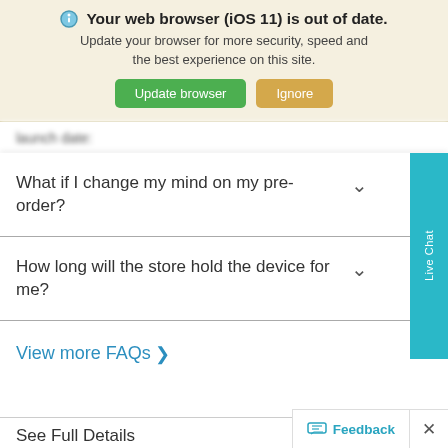Your web browser (iOS 11) is out of date. Update your browser for more security, speed and the best experience on this site. [Update browser] [Ignore]
(blurred link/partial text)
What if I change my mind on my pre-order?
How long will the store hold the device for me?
View more FAQs >
See Full Details
Feedback  ×